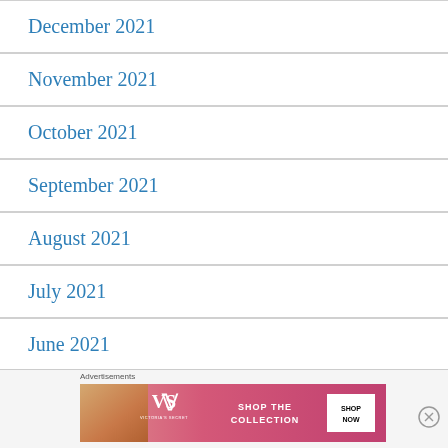December 2021
November 2021
October 2021
September 2021
August 2021
July 2021
June 2021
April 2021
[Figure (infographic): Victoria's Secret advertisement banner: 'SHOP THE COLLECTION' with SHOP NOW button]
Advertisements